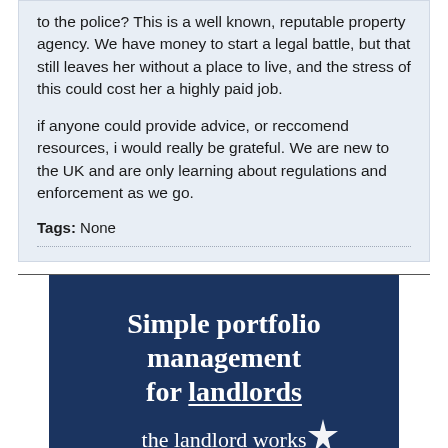to the police? This is a well known, reputable property agency. We have money to start a legal battle, but that still leaves her without a place to live, and the stress of this could cost her a highly paid job.
if anyone could provide advice, or reccomend resources, i would really be grateful. We are new to the UK and are only learning about regulations and enforcement as we go.
Tags: None
[Figure (advertisement): Dark navy blue advertisement block reading 'Simple portfolio management for landlords' in bold serif white text, with 'the landlord works' in lighter serif text at the bottom and a star logo to the right.]